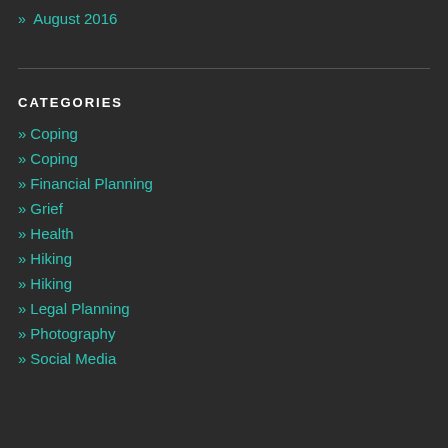» August 2016
CATEGORIES
» Coping
» Coping
» Financial Planning
» Grief
» Health
» Hiking
» Hiking
» Legal Planning
» Photography
» Social Media